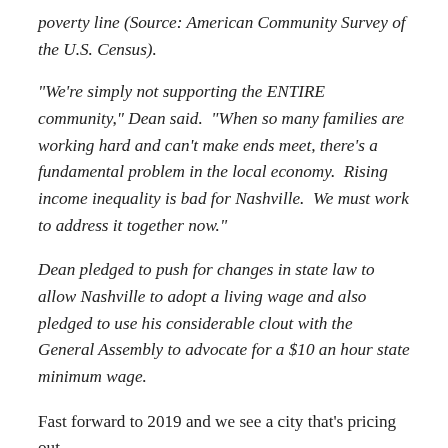poverty line (Source: American Community Survey of the U.S. Census).
“We’re simply not supporting the ENTIRE community,” Dean said.  “When so many families are working hard and can’t make ends meet, there’s a fundamental problem in the local economy.  Rising income inequality is bad for Nashville.  We must work to address it together now.”
Dean pledged to push for changes in state law to allow Nashville to adopt a living wage and also pledged to use his considerable clout with the General Assembly to advocate for a $10 an hour state minimum wage.
Fast forward to 2019 and we see a city that’s pricing out